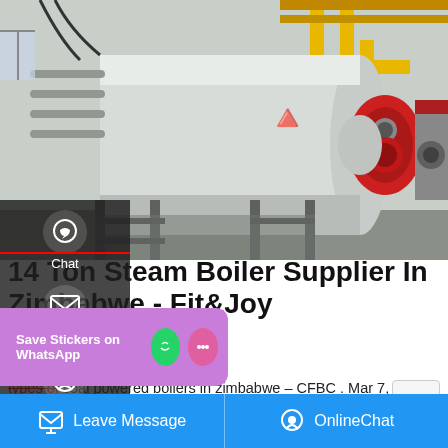[Figure (photo): Industrial steam boiler equipment in a facility - large white cylindrical tank with a red burner unit attached on the right, metal piping and yellow pipes visible in the background]
14 Ton Steam Boiler Supplier In Zimbabwe - Fit&Joy
types of coal powered boilers in zimbabwe – CFBC . Mar 7, 20... – on coal fired boiler,boiler manufacturer in Zimbabwe SZS Oil & Gas Fired Boiler is D type bi-drum water tube boiler ... – Zimbabwe gives a larger overview ... use in Power plants without fuel types –